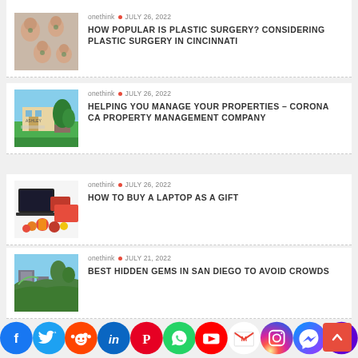onethink • JULY 26, 2022 — HOW POPULAR IS PLASTIC SURGERY? CONSIDERING PLASTIC SURGERY IN CINCINNATI
onethink • JULY 26, 2022 — HELPING YOU MANAGE YOUR PROPERTIES – CORONA CA PROPERTY MANAGEMENT COMPANY
onethink • JULY 26, 2022 — HOW TO BUY A LAPTOP AS A GIFT
onethink • JULY 21, 2022 — BEST HIDDEN GEMS IN SAN DIEGO TO AVOID CROWDS
[Figure (infographic): Social media share buttons bar: Facebook, Twitter, Reddit, LinkedIn, Pinterest, WhatsApp, YouTube, Gmail, Instagram, Messenger, Yahoo]